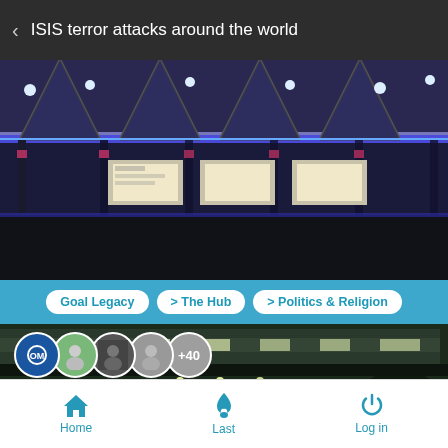< ISIS terror attacks around the world
[Figure (photo): Interior of a large stadium or arena with blue/purple LED lighting overhead, structural beams visible, and illuminated display boards in the background]
Goal Legacy  > The Hub  > Politics & Religion
[Figure (photo): Exterior aerial view of a large stadium or arena at night, with vehicles (including what appears to be an emergency vehicle) visible in a parking area, and trees in the foreground]
Home  Last  Log in